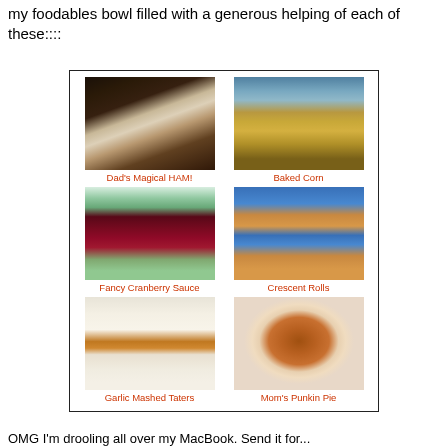my foodables bowl filled with a generous helping of each of these::::
[Figure (photo): A 2x3 grid of food photos with orange/red captions: Dad's Magical HAM! (slow cooker with ham), Baked Corn (casserole dish in oven), Fancy Cranberry Sauce (bowl of cranberry sauce), Crescent Rolls (Pillsbury Crescent rolls packages), Garlic Mashed Taters (mashed potatoes with gravy), Mom's Punkin Pie (pumpkin pie)]
OMG I'm drooling all over my MacBook. Send it for...